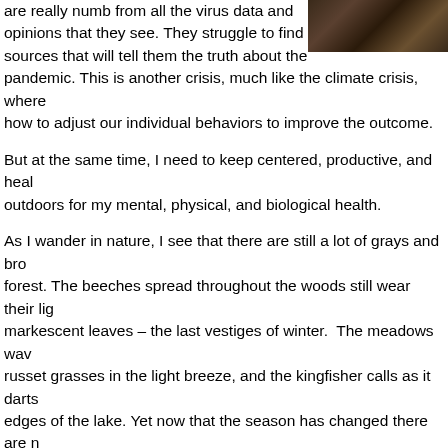[Figure (photo): Photograph of forest/woodland scene with dark browns and grays, partially visible in top right corner]
are really numb from all the virus data and opinions that they see. They struggle to find sources that will tell them the truth about the pandemic. This is another crisis, much like the climate crisis, where how to adjust our individual behaviors to improve the outcome.
But at the same time, I need to keep centered, productive, and heal outdoors for my mental, physical, and biological health.
As I wander in nature, I see that there are still a lot of grays and bro forest. The beeches spread throughout the woods still wear their lig markescent leaves – the last vestiges of winter.  The meadows wav russet grasses in the light breeze, and the kingfisher calls as it darts edges of the lake. Yet now that the season has changed there are n incipient stages of spring everywhere I look. Snowdrops and crocus have given way to pink spring beauties, Virginia bluebells, white blo yellow woodland poppies. The understory shrubs are trying to get th the taller canopy species. Yellow spicebush, redbud, and white shad all sprouting their flowers, and even the maples are flowering and th are leafing out. Solitary bees are churning up the soil, and small bro and snapping turtles are lying in wait, looking for a chance to wriggle the path.